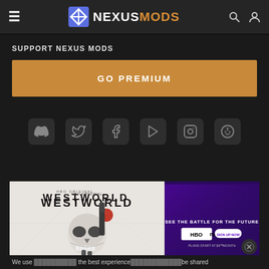NEXUSMODS
SUPPORT NEXUS MODS
GO PREMIUM
[Figure (illustration): Social media icons row: Discord, Twitter, Facebook, YouTube, Instagram, Reddit]
[Figure (photo): Westworld HBO Max advertisement banner showing a skull held by a robotic hand, with text 'WESTWORLD' and 'SEE THE BATTLE FOR THE FUTURE HBO max SIGN UP NOW PLANS START AT $9.99/MONTH']
We use ... the best experience ... be shared